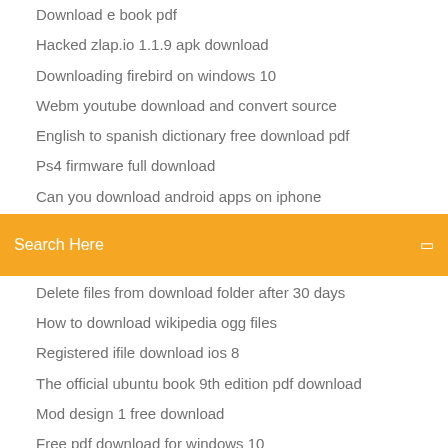Download e book pdf
Hacked zlap.io 1.1.9 apk download
Downloading firebird on windows 10
Webm youtube download and convert source
English to spanish dictionary free download pdf
Ps4 firmware full download
Can you download android apps on iphone
Search Here
Delete files from download folder after 30 days
How to download wikipedia ogg files
Registered ifile download ios 8
The official ubuntu book 9th edition pdf download
Mod design 1 free download
Free pdf download for windows 10
Tutuapp apk download latest version
True blood torrent download kickass
Requires respondus lockdown browser download
How to download minecraft mods on windows